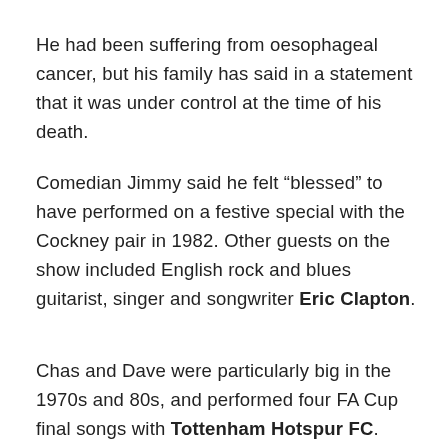He had been suffering from oesophageal cancer, but his family has said in a statement that it was under control at the time of his death.
Comedian Jimmy said he felt “blessed” to have performed on a festive special with the Cockney pair in 1982. Other guests on the show included English rock and blues guitarist, singer and songwriter Eric Clapton.
Chas and Dave were particularly big in the 1970s and 80s, and performed four FA Cup final songs with Tottenham Hotspur FC.
Jimmy posted on social media: "Just heard of the